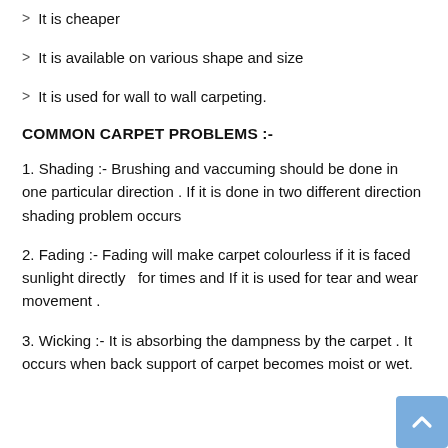It is cheaper
It is available on various shape and size
It is used for wall to wall carpeting.
COMMON CARPET PROBLEMS :-
1. Shading :- Brushing and vaccuming should be done in one particular direction . If it is done in two different direction shading problem occurs
2. Fading :- Fading will make carpet colourless if it is faced sunlight directly  for times and If it is used for tear and wear movement .
3. Wicking :- It is absorbing the dampness by the carpet . It occurs when back support of carpet becomes moist or wet.